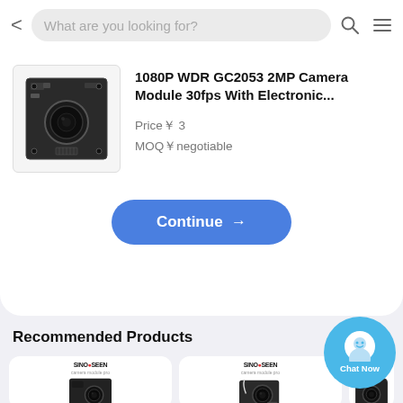What are you looking for?
1080P WDR GC2053 2MP Camera Module 30fps With Electronic...
Price￥ 3
MOQ￥negotiable
[Figure (photo): Camera module PCB board with lens, top-down view]
Continue →
Recommended Products
[Figure (photo): SINOSEEN camera module with wide-angle lens, black PCB]
[Figure (photo): SINOSEEN camera module with fisheye lens and connector cable]
[Figure (photo): SINOSEEN small black camera module]